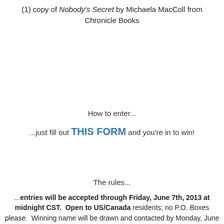(1) copy of Nobody's Secret by Michaela MacColl from Chronicle Books
How to enter...
...just fill out THIS FORM and you're in to win!
The rules...
...entries will be accepted through Friday, June 7th, 2013 at midnight CST.  Open to US/Canada residents; no P.O. Boxes please.  Winning name will be drawn and contacted by Monday, June 10th, 2013 and have 48 hours to respond with the info for an email mailing address to send a copy...